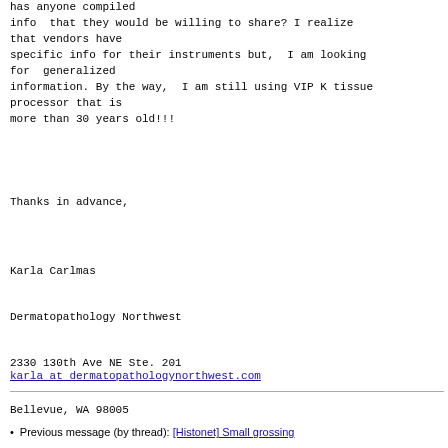has anyone compiled
info  that they would be willing to share? I realize
that vendors have
specific info for their instruments but,  I am looking
for  generalized
information. By the way,  I am still using VIP K tissue
processor that is
more than 30 years old!!!
Thanks in advance,
Karla Carlmas

Dermatopathology Northwest

2330 130th Ave NE Ste. 201

Bellevue, WA 98005
karla at dermatopathologynorthwest.com
Previous message (by thread): [Histonet] Small grossing